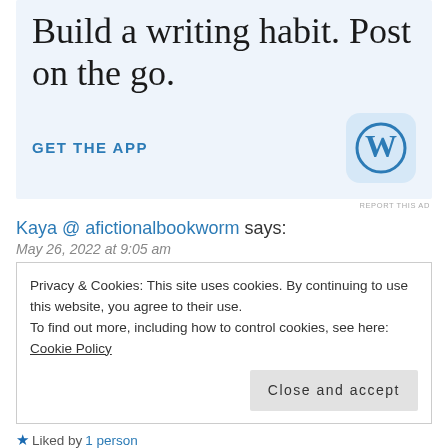[Figure (illustration): WordPress app advertisement banner with light blue background. Large serif text reads 'Build a writing habit. Post on the go.' with a blue 'GET THE APP' link and the WordPress 'W' logo icon on the right.]
REPORT THIS AD
Kaya @ afictionalbookworm says:
May 26, 2022 at 9:05 am
Privacy & Cookies: This site uses cookies. By continuing to use this website, you agree to their use.
To find out more, including how to control cookies, see here: Cookie Policy
Liked by 1 person